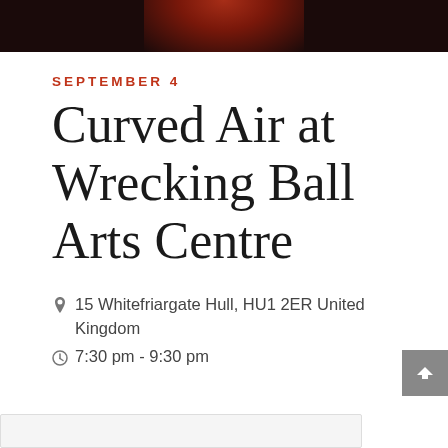[Figure (photo): Dark banner photo at top of page with reddish glow in center, appears to be a concert/performance image]
SEPTEMBER 4
Curved Air at Wrecking Ball Arts Centre
15 Whitefriargate Hull, HU1 2ER United Kingdom
7:30 pm - 9:30 pm